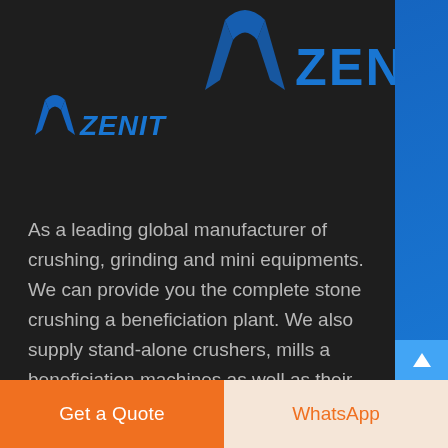[Figure (logo): Zenit company logo with blue arch/letter A shape and blue italic ZENIT text]
As a leading global manufacturer of crushing, grinding and mining equipments. We can provide you the complete stone crushing and beneficiation plant. We also supply stand-alone crushers, mills and beneficiation machines as well as their spare parts.
Contact Us
You can get contact with us through online consulting, demand table submission, e-mails and telephones.
Get a Quote
WhatsApp